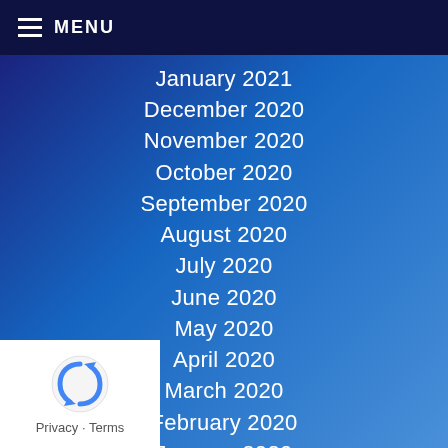MENU
January 2021
December 2020
November 2020
October 2020
September 2020
August 2020
July 2020
June 2020
May 2020
April 2020
March 2020
February 2020
January 2020
December 2019
Privacy · Terms